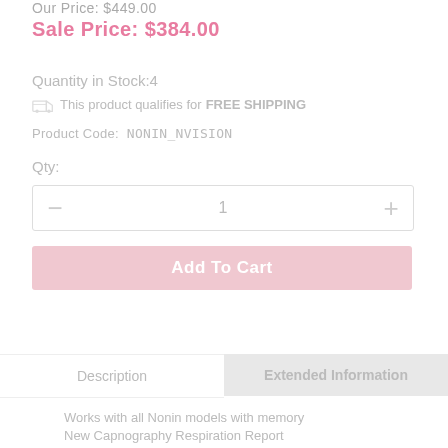Our Price: $449.00
Sale Price: $384.00
Quantity in Stock:4
This product qualifies for FREE SHIPPING
Product Code:  NONIN_NVISION
Qty:
1
Add To Cart
Description
Extended Information
Works with all Nonin models with memory
New Capnography Respiration Report